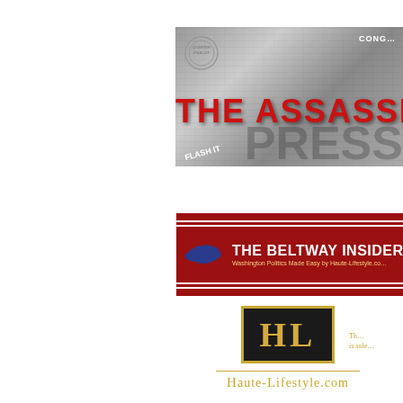[Figure (illustration): Movie/publication banner for 'The Assassin' with newspaper collage background, red bold title text, circular quarter finalist seal, and 'CONGRESS' label in top right corner]
[Figure (logo): The Beltway Insider banner — dark red background with blue USA map silhouette on left, white bold title 'THE BELTWAY INSIDER' and yellow subtitle 'Washington Politics Made Easy by Haute-Lifestyle.com', framed by red stripes]
[Figure (logo): Haute-Lifestyle.com logo — black box with gold border containing gold 'HL' letters, gold horizontal rule below, and 'Haute-Lifestyle.com' in gold stylized text]
Th is sole